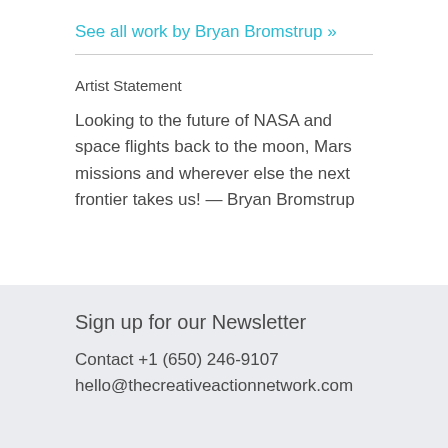See all work by Bryan Bromstrup »
Artist Statement
Looking to the future of NASA and space flights back to the moon, Mars missions and wherever else the next frontier takes us! — Bryan Bromstrup
Sign up for our Newsletter
Contact +1 (650) 246-9107
hello@thecreativeactionnetwork.com